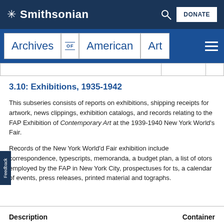Smithsonian — Archives of American Art
|  |  |  |
| --- | --- | --- |
|  |  |  |
3.10: Exhibitions, 1935-1942
This subseries consists of reports on exhibitions, shipping receipts for artwork, news clippings, exhibition catalogs, and records relating to the FAP Exhibition of Contemporary Art at the 1939-1940 New York World's Fair.
Records of the New York World'd Fair exhibition include correspondence, typescripts, memoranda, a budget plan, a list of otors employed by the FAP in New York City, prospectuses for ts, a calendar of events, press releases, printed material and tographs.
| Description | Container |
| --- | --- |